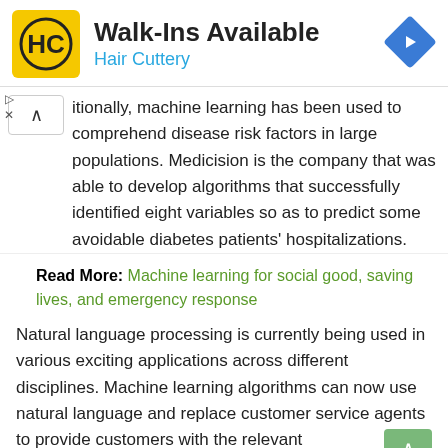[Figure (other): Hair Cuttery advertisement banner with HC logo, 'Walk-Ins Available' heading, 'Hair Cuttery' subtitle in blue, and a blue navigation diamond icon on the right.]
itionally, machine learning has been used to comprehend disease risk factors in large populations. Medicision is the company that was able to develop algorithms that successfully identified eight variables so as to predict some avoidable diabetes patients' hospitalizations.
Read More: Machine learning for social good, saving lives, and emergency response
Natural language processing is currently being used in various exciting applications across different disciplines. Machine learning algorithms can now use natural language and replace customer service agents to provide customers with the relevant information they need quickly and